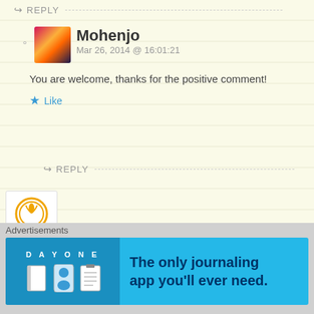REPLY
Mohenjo
Mar 26, 2014 @ 16:01:21
You are welcome, thanks for the positive comment!
Like
REPLY
thegrowingstoneofhope
Mar 25, 2014 @ 16:25:15
We just want to say THANK YOU – thanks for the REBLOG are supporting our project a lot with that. I hope we stay in to regards
Liked by 1 person
Advertisements
DAY ONE – The only journaling app you'll ever need.